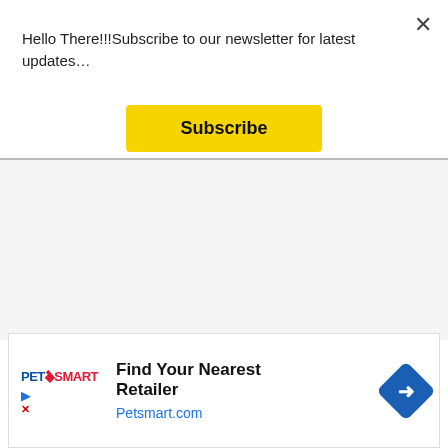Hello There!!!Subscribe to our newsletter for latest updates…
Subscribe
Advertisements
[Figure (other): PetSmart advertisement banner: Find Your Nearest Retailer, Petsmart.com with navigation arrow icon and PetSmart logo]